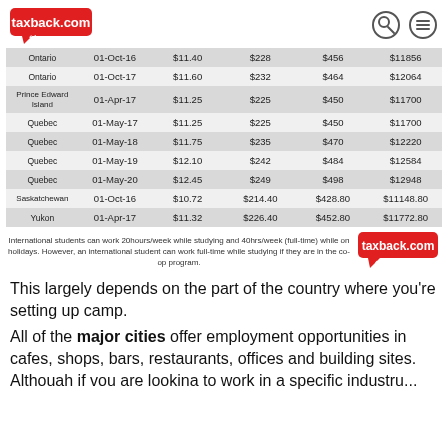taxback.com
| Ontario | 01-Oct-16 | $11.40 | $228 | $456 | $11856 |
| Ontario | 01-Oct-17 | $11.60 | $232 | $464 | $12064 |
| Prince Edward Island | 01-Apr-17 | $11.25 | $225 | $450 | $11700 |
| Quebec | 01-May-17 | $11.25 | $225 | $450 | $11700 |
| Quebec | 01-May-18 | $11.75 | $235 | $470 | $12220 |
| Quebec | 01-May-19 | $12.10 | $242 | $484 | $12584 |
| Quebec | 01-May-20 | $12.45 | $249 | $498 | $12948 |
| Saskatchewan | 01-Oct-16 | $10.72 | $214.40 | $428.80 | $11148.80 |
| Yukon | 01-Apr-17 | $11.32 | $226.40 | $452.80 | $11772.80 |
International students can work 20hours/week while studying and 40hrs/week (full-time) while on holidays. However, an international student can work full-time while studying if they are in the co-op program.
[Figure (logo): taxback.com logo (red speech bubble with white text and arrow)]
This largely depends on the part of the country where you're setting up camp.
All of the major cities offer employment opportunities in cafes, shops, bars, restaurants, offices and building sites. Although if you are looking to work in a specific industry...